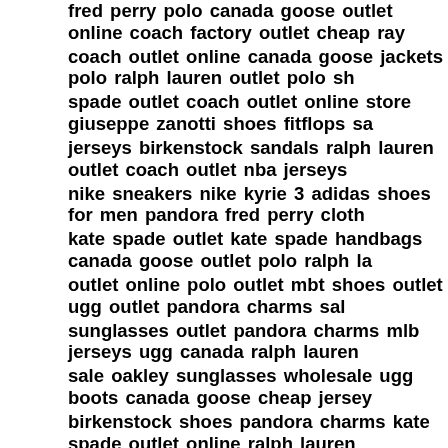fred perry polo canada goose outlet online coach factory outlet cheap ray coach outlet online canada goose jackets polo ralph lauren outlet polo sh spade outlet coach outlet online store giuseppe zanotti shoes fitflops sa jerseys birkenstock sandals ralph lauren outlet coach outlet nba jerseys nike sneakers nike kyrie 3 adidas shoes for men pandora fred perry cloth kate spade outlet kate spade handbags canada goose outlet polo ralph la outlet online polo outlet mbt shoes outlet ugg outlet pandora charms sal sunglasses outlet pandora charms mlb jerseys ugg canada ralph lauren sale oakley sunglasses wholesale ugg boots canada goose cheap jersey birkenstock shoes pandora charms kate spade outlet online ralph lauren coach outlet online pandora outlet store valentino outlet store michael ko coach outlet store online michael kors outlet prada outlet coach outlet ug yeezy boost 350 ugg outlet coach outlet canada goose outlet coach facto online nike outlet michael kors outlet air max 2017 christian louboutin ou outlet hermes outlet nike trainers michael kors outlet cheap ugg boots pa outlet pandora outlet cheap ray ban pandora charms cheap nfl jerseys mi lauren supreme kate spade outlet michael kors handbags clearance chea factory outlet coach outlet yeezy boost 350 coach factory outlet jordan re michael kors outlet nike air max ugg boots on sale canada goose outlet s coach outlet off white clothing ralph lauren outlet kate spade handbags t goose jackets air max 90 coach outlet online pandora charms polo ralph